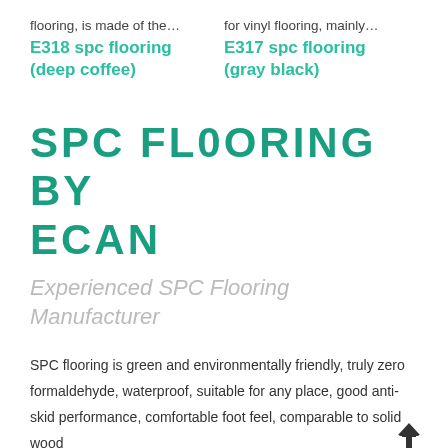flooring, is made of the…
for vinyl flooring, mainly…
E318 spc flooring (deep coffee)
E317 spc flooring (gray black)
SPC FL0ORING BY ECAN
Experienced SPC Flooring Manufacturer
SPC flooring is green and environmentally friendly, truly zero formaldehyde, waterproof, suitable for any place, good anti-skid performance, comfortable foot feel, comparable to solid wood